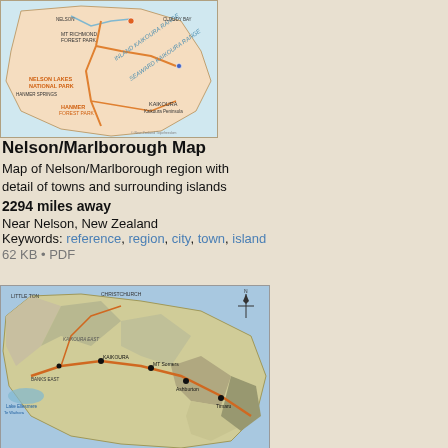[Figure (map): Map of Nelson/Marlborough region showing towns, forest parks, national parks, and surrounding islands. Shows Mt Richmond Forest Park, Nelson Lakes National Park, Marlborough area, Kaikoura Range, Seaward Kaikoura Range, and Kaikoura Peninsula. Orange roads and blue water features visible.]
Nelson/Marlborough Map
Map of Nelson/Marlborough region with detail of towns and surrounding islands
2294 miles away
Near Nelson, New Zealand
Keywords: reference, region, city, town, island
62 KB • PDF
[Figure (map): Detailed topographic map showing a mountainous island or peninsula region. Shows terrain with shaded relief, roads in orange, towns marked with dots, water bodies in blue. Labels include Kaikoura and other place names. Compass rose visible in upper right.]